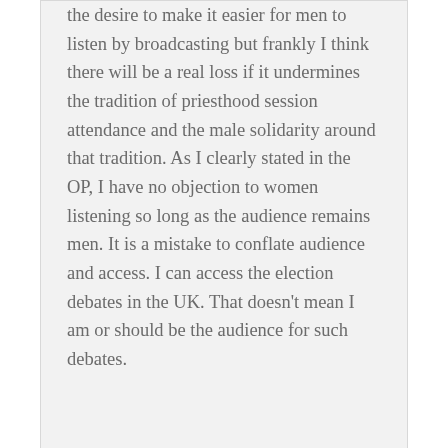the desire to make it easier for men to listen by broadcasting but frankly I think there will be a real loss if it undermines the tradition of priesthood session attendance and the male solidarity around that tradition. As I clearly stated in the OP, I have no objection to women listening so long as the audience remains men. It is a mistake to conflate audience and access. I can access the election debates in the UK. That doesn't mean I am or should be the audience for such debates.
Mtnmarty
October 7, 2013 at 4:48 pm
Nate,
You write " I think that it would probably be a good thing if women were ordained." in the OP.